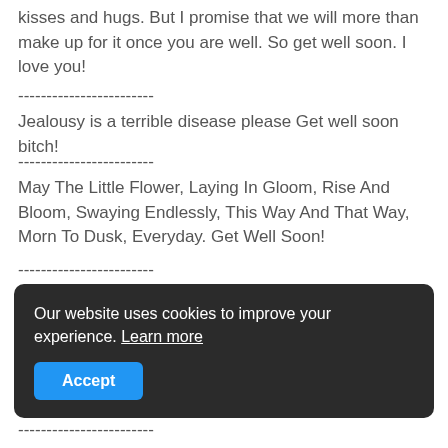kisses and hugs. But I promise that we will more than make up for it once you are well. So get well soon. I love you!
------------------------
Jealousy is a terrible disease please Get well soon bitch!
------------------------
May The Little Flower, Laying In Gloom, Rise And Bloom, Swaying Endlessly, This Way And That Way, Morn To Dusk, Everyday. Get Well Soon!
------------------------
It's nice to hear you're doing well, And convalescing fast, And here's a wish that your good health, Will last and last and last.
------------------------
(partially hidden text behind cookie banner)
Our website uses cookies to improve your experience. Learn more
Accept
------------------------